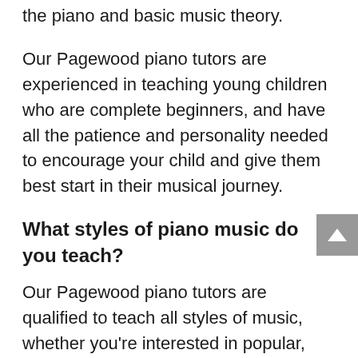the piano and basic music theory.
Our Pagewood piano tutors are experienced in teaching young children who are complete beginners, and have all the patience and personality needed to encourage your child and give them best start in their musical journey.
What styles of piano music do you teach?
Our Pagewood piano tutors are qualified to teach all styles of music, whether you're interested in popular, contemporary, classical, jazz, musical theatre, or more. Nintey-plus from this i...